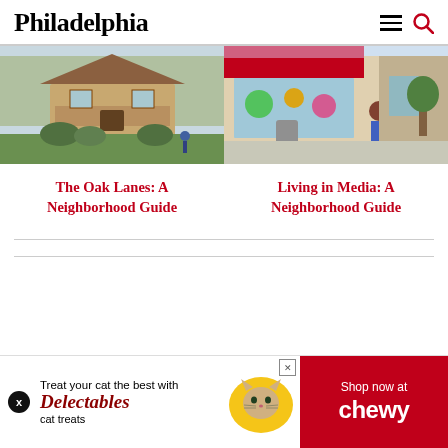Philadelphia
[Figure (photo): Photo of a house in The Oak Lanes neighborhood — a tan/brown craftsman-style home with trees and lawn, a person walking on the sidewalk, early spring.]
The Oak Lanes: A Neighborhood Guide
[Figure (photo): Photo of a colorful street scene in Media, PA — a person standing outside a brightly decorated shop front with merchandise displayed, a sunny day.]
Living in Media: A Neighborhood Guide
[Figure (photo): Advertisement banner: Treat your cat the best with Delectables cat treats. Shop now at Chewy. Features a cat photo and Chewy logo on red background.]